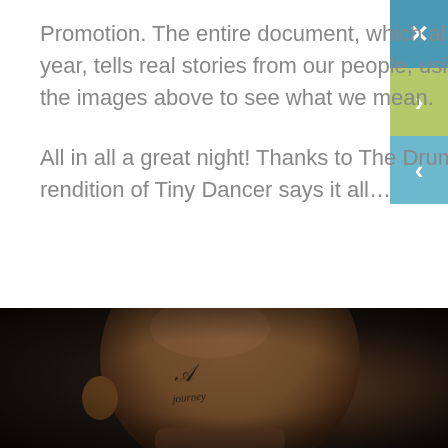Promotion. The entire document, which already scored a Gold IPA Award earlier this year, tells real stories from our people, using the same people as its canvas – scroll the images above to see what we mean.
All in all a great night! Thanks to The Drum for arranging a fab party; we think Guy's rendition of Tiny Dancer says it all…
[Figure (photo): Close-up photograph of the back and top of a bald man's head in dark/dramatic lighting, with a script tattoo reading 'A journey' visible on his head]